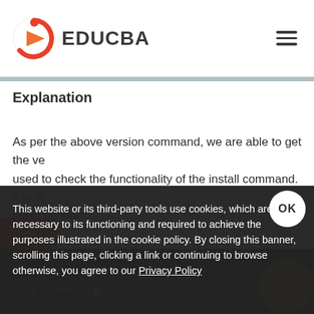EDUCBA
Explanation
As per the above version command, we are able to get the version used to check the functionality of the install command. It is maintained latest version.
This website or its third-party tools use cookies, which are necessary to its functioning and required to achieve the purposes illustrated in the cookie policy. By closing this banner, scrolling this page, clicking a link or continuing to browse otherwise, you agree to our Privacy Policy
[Figure (screenshot): Terminal code block showing 'written by David MacKenzie' and '[root@localhost ~]#' prompt with green cursor]
[Figure (logo): EDUCBA logo with red/orange play button icon]